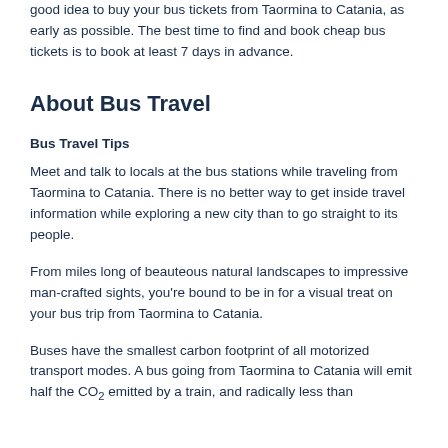good idea to buy your bus tickets from Taormina to Catania, as early as possible. The best time to find and book cheap bus tickets is to book at least 7 days in advance.
About Bus Travel
Bus Travel Tips
Meet and talk to locals at the bus stations while traveling from Taormina to Catania. There is no better way to get inside travel information while exploring a new city than to go straight to its people.
From miles long of beauteous natural landscapes to impressive man-crafted sights, you're bound to be in for a visual treat on your bus trip from Taormina to Catania.
Buses have the smallest carbon footprint of all motorized transport modes. A bus going from Taormina to Catania will emit half the CO2 emitted by a train, and radically less than